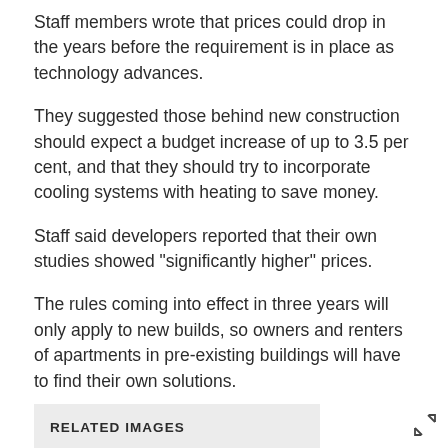Staff members wrote that prices could drop in the years before the requirement is in place as technology advances.
They suggested those behind new construction should expect a budget increase of up to 3.5 per cent, and that they should try to incorporate cooling systems with heating to save money.
Staff said developers reported that their own studies showed "significantly higher" prices.
The rules coming into effect in three years will only apply to new builds, so owners and renters of apartments in pre-existing buildings will have to find their own solutions.
RELATED IMAGES